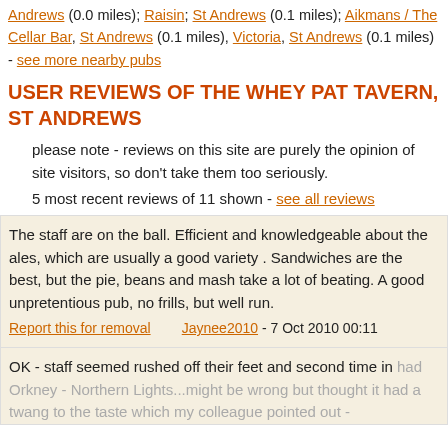Andrews (0.0 miles); Raisin; St Andrews (0.1 miles); Aikmans / The Cellar Bar, St Andrews (0.1 miles), Victoria, St Andrews (0.1 miles) - see more nearby pubs
USER REVIEWS OF THE WHEY PAT TAVERN, ST ANDREWS
please note - reviews on this site are purely the opinion of site visitors, so don't take them too seriously.
5 most recent reviews of 11 shown - see all reviews
The staff are on the ball. Efficient and knowledgeable about the ales, which are usually a good variety . Sandwiches are the best, but the pie, beans and mash take a lot of beating. A good unpretentious pub, no frills, but well run.
Report this for removal		Jaynee2010 - 7 Oct 2010 00:11
OK - staff seemed rushed off their feet and second time in had Orkney - Northern Lights...might be wrong but thought it had a twang to the taste which my colleague pointed out -